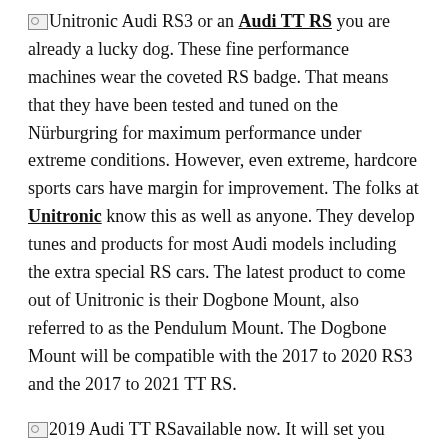[Unitronic logo] Audi RS3 or an Audi TT RS you are already a lucky dog. These fine performance machines wear the coveted RS badge. That means that they have been tested and tuned on the Nürburgring for maximum performance under extreme conditions. However, even extreme, hardcore sports cars have margin for improvement. The folks at Unitronic know this as well as anyone. They develop tunes and products for most Audi models including the extra special RS cars. The latest product to come out of Unitronic is their Dogbone Mount, also referred to as the Pendulum Mount. The Dogbone Mount will be compatible with the 2017 to 2020 RS3 and the 2017 to 2021 TT RS.
[2019 Audi TT RS image] available now. It will set you back $499.99. Your racecar build will have to wait just a little bit longer. The red track oriented Dogbone Mount is expected to arrive in April 2022. Pricing for